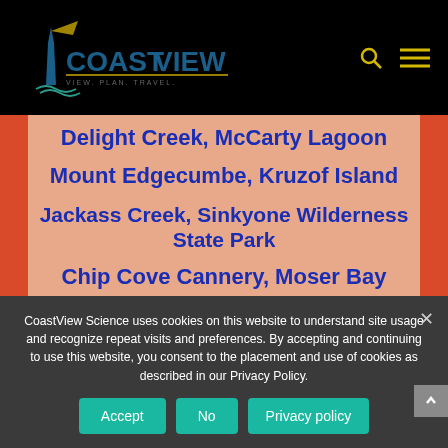[Figure (logo): CoastView logo with lighthouse icon and tagline VIEW. PLAN. TRAVEL.]
Delight Creek, McCarty Lagoon
Mount Edgecumbe, Kruzof Island
Jackass Creek, Sinkyone Wilderness State Park
Chip Cove Cannery, Moser Bay
Wa'atch River, Makah Bay
CoastView Science uses cookies on this website to understand site usage and recognize repeat visits and preferences. By accepting and continuing to use this website, you consent to the placement and use of cookies as described in our Privacy Policy.